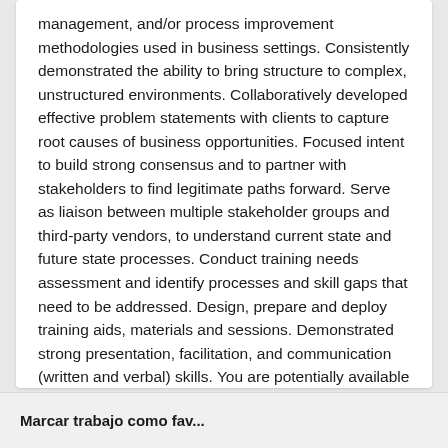management, and/or process improvement methodologies used in business settings. Consistently demonstrated the ability to bring structure to complex, unstructured environments. Collaboratively developed effective problem statements with clients to capture root causes of business opportunities. Focused intent to build strong consensus and to partner with stakeholders to find legitimate paths forward. Serve as liaison between multiple stakeholder groups and third-party vendors, to understand current state and future state processes. Conduct training needs assessment and identify processes and skill gaps that need to be addressed. Design, prepare and deploy training aids, materials and sessions. Demonstrated strong presentation, facilitation, and communication (written and verbal) skills. You are potentially available to travel for consulting engagements to all the markets we serve. Additional Considerations: Industry expertise i
Marcar trabajo como fav...